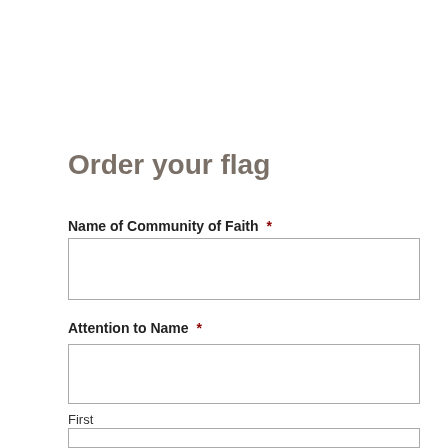Order your flag
Name of Community of Faith *
Attention to Name *
First